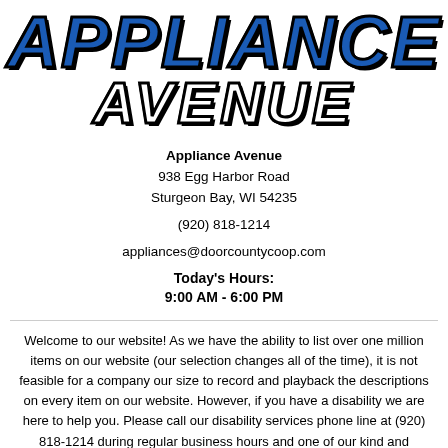[Figure (logo): Appliance Avenue logo with 'APPLIANCE' in large bold blue italic letters and 'AVENUE' in large bold white italic letters with black outlines]
Appliance Avenue
938 Egg Harbor Road
Sturgeon Bay, WI 54235
(920) 818-1214
appliances@doorcountycoop.com
Today's Hours:
9:00 AM - 6:00 PM
Welcome to our website! As we have the ability to list over one million items on our website (our selection changes all of the time), it is not feasible for a company our size to record and playback the descriptions on every item on our website. However, if you have a disability we are here to help you. Please call our disability services phone line at (920) 818-1214 during regular business hours and one of our kind and friendly personal shoppers will be happy to assist you.